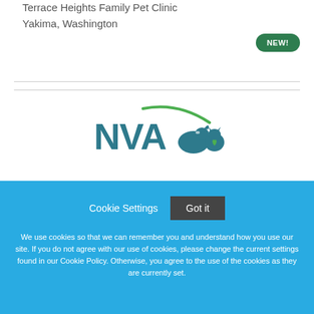Terrace Heights Family Pet Clinic
Yakima, Washington
[Figure (logo): NVA logo with teal dog and cat silhouettes and green arch]
Cookie Settings   Got it
We use cookies so that we can remember you and understand how you use our site. If you do not agree with our use of cookies, please change the current settings found in our Cookie Policy. Otherwise, you agree to the use of the cookies as they are currently set.